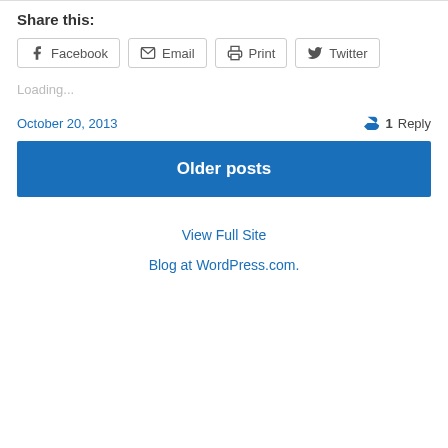Share this:
Facebook  Email  Print  Twitter
Loading...
October 20, 2013
1 Reply
Older posts
View Full Site
Blog at WordPress.com.